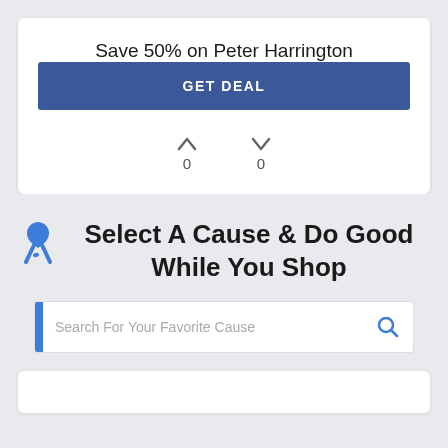Save 50% on Peter Harrington
GET DEAL
[Figure (infographic): Up arrow with vote count 0 and down arrow with vote count 0]
[Figure (illustration): Blue awareness ribbon icon]
Select A Cause & Do Good While You Shop
Search For Your Favorite Cause